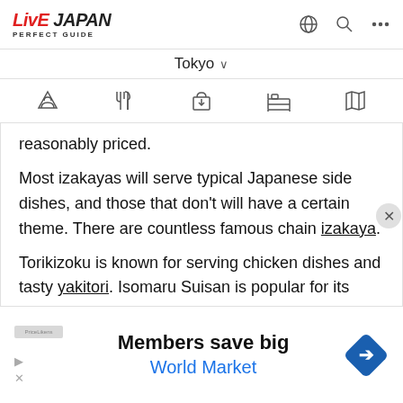LIVE JAPAN PERFECT GUIDE
Tokyo
[Figure (infographic): Navigation icon row with 5 icons: mountain/sightseeing, fork and knife/food, shopping bag, bed/accommodation, map/travel]
reasonably priced.
Most izakayas will serve typical Japanese side dishes, and those that don't will have a certain theme. There are countless famous chain izakaya.
Torikizoku is known for serving chicken dishes and tasty yakitori. Isomaru Suisan is popular for its fresh seafood, some of which you can enjoy grilling...
[Figure (infographic): Advertisement banner: Members save big - World Market, with blue diamond arrow logo, play and X icons]